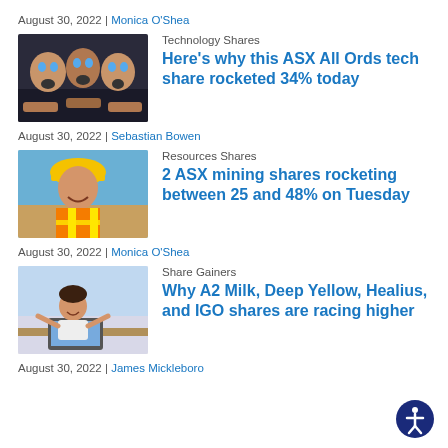August 30, 2022 | Monica O'Shea
[Figure (photo): People looking surprised at a screen, dark background]
Technology Shares
Here's why this ASX All Ords tech share rocketed 34% today
August 30, 2022 | Sebastian Bowen
[Figure (photo): Woman in a hard hat and hi-vis vest smiling outdoors at a construction/mining site]
Resources Shares
2 ASX mining shares rocketing between 25 and 48% on Tuesday
August 30, 2022 | Monica O'Shea
[Figure (photo): Woman working at a laptop in a modern office environment]
Share Gainers
Why A2 Milk, Deep Yellow, Healius, and IGO shares are racing higher
August 30, 2022 | James Mickleboro